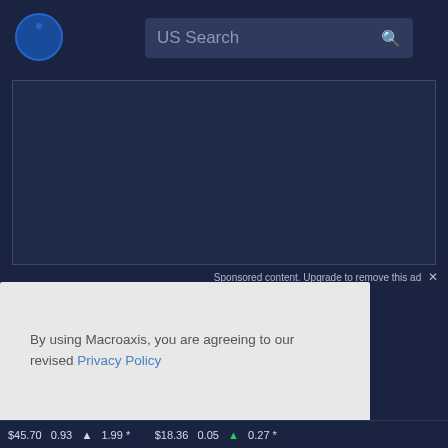[Figure (logo): Macroaxis globe logo with orange and blue colors]
US Search
[Figure (screenshot): Advertisement placeholder area with dark background and border]
Sponsored content. Upgrade to remove this ad ×
By using Macroaxis, you are agreeing to our revised Privacy Policy
OK
$45.70  0.93  1.99 *    $18.36  0.05  0.27 *